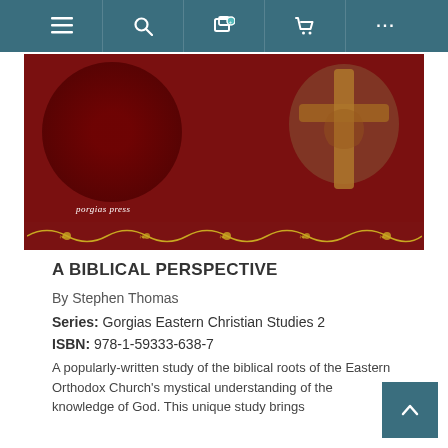[Figure (screenshot): Website navigation bar with teal background showing menu, search, notification, cart, and more icons]
[Figure (photo): Book cover with dark red background, circular motif and cross design, ornamental border at bottom, 'porgias press' text]
A BIBLICAL PERSPECTIVE
By Stephen Thomas
Series: Gorgias Eastern Christian Studies 2
ISBN: 978-1-59333-638-7
A popularly-written study of the biblical roots of the Eastern Orthodox Church's mystical understanding of the knowledge of God. This unique study brings